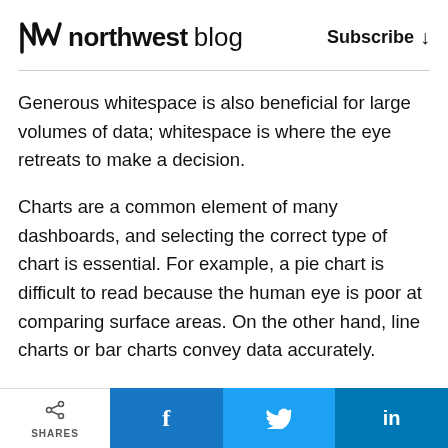northwest blog  Subscribe ↓
Generous whitespace is also beneficial for large volumes of data; whitespace is where the eye retreats to make a decision.
Charts are a common element of many dashboards, and selecting the correct type of chart is essential. For example, a pie chart is difficult to read because the human eye is poor at comparing surface areas. On the other hand, line charts or bar charts convey data accurately.
SHARES  f  t  in